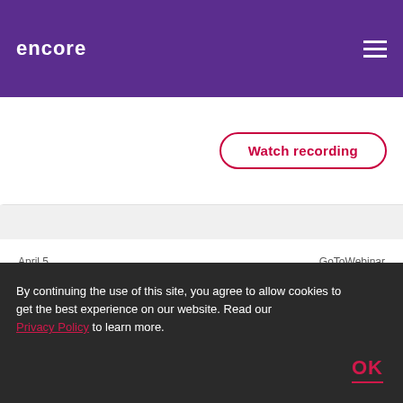encore
[Figure (screenshot): Watch recording button with crimson border and text on white background]
April 5    GoToWebinar
AP Automation for Dynamics 365 Finance
By continuing the use of this site, you agree to allow cookies to get the best experience on our website. Read our Privacy Policy to learn more.
OK